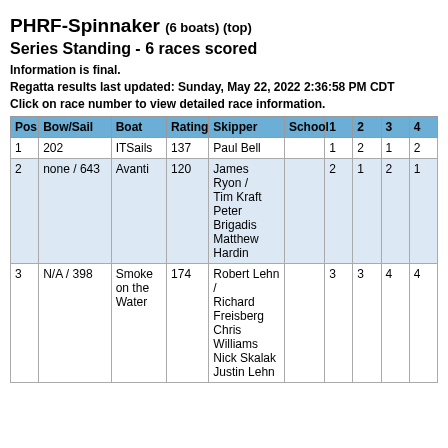PHRF-Spinnaker (6 boats) (top) Series Standing - 6 races scored
Information is final.
Regatta results last updated: Sunday, May 22, 2022 2:36:58 PM CDT
Click on race number to view detailed race information.
| Pos | Bow/Sail | Boat | Rating | Skipper | School | 1 | 2 | 3 | 4 |
| --- | --- | --- | --- | --- | --- | --- | --- | --- | --- |
| 1 | 202 | ITSails | 137 | Paul Bell |  | 1 | 2 | 1 | 2 |
| 2 | none / 643 | Avanti | 120 | James Ryon /
Tim Kraft
Peter Brigadis
Matthew Hardin |  | 2 | 1 | 2 | 1 |
| 3 | N/A / 398 | Smoke on the Water | 174 | Robert Lehn /
Richard Freisberg
Chris Williams
Nick Skalak
Justin Lehn |  | 3 | 3 | 4 | 4 |